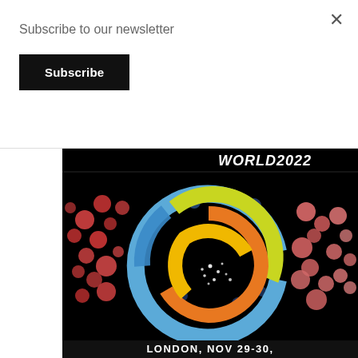Subscribe to our newsletter
Subscribe
[Figure (screenshot): Screenshot of a webpage showing a newsletter subscribe modal overlay on top of a partially visible event promotional image. The image shows the 'WORLD 2022' event branding with concentric arc logo in blue, yellow-green, orange, and gold colors over a molecular/scientific background of colorful spheres. Text at the bottom reads 'LONDON, NOV 29-30.']
LONDON, NOV 29-30,